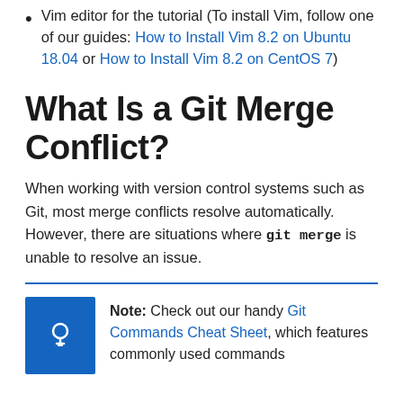Vim editor for the tutorial (To install Vim, follow one of our guides: How to Install Vim 8.2 on Ubuntu 18.04 or How to Install Vim 8.2 on CentOS 7)
What Is a Git Merge Conflict?
When working with version control systems such as Git, most merge conflicts resolve automatically. However, there are situations where git merge is unable to resolve an issue.
Note: Check out our handy Git Commands Cheat Sheet, which features commonly used commands